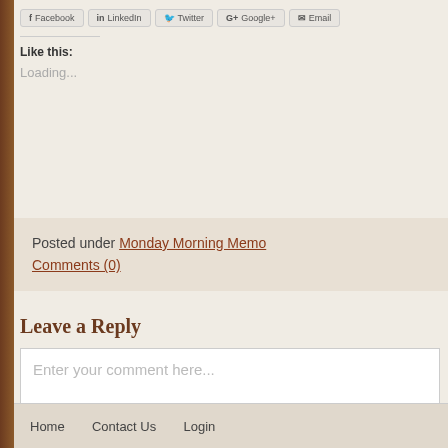[Figure (screenshot): Social sharing buttons for Facebook, LinkedIn, Twitter, Google+, and Email]
Like this:
Loading...
Posted under Monday Morning Memo
Comments (0)
Leave a Reply
Enter your comment here...
Home   Contact Us   Login